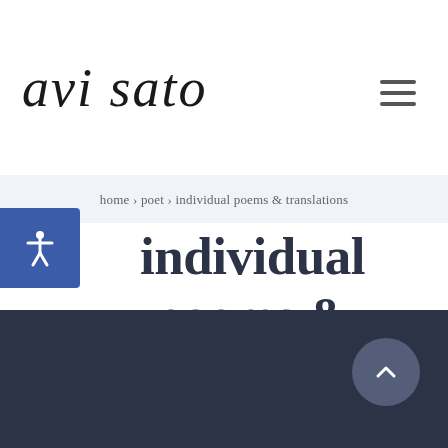avi sato
home › poet › individual poems & translations
individual poems & translations
[Figure (other): Dark blue-grey card section at the bottom of the page with a back-to-top chevron circle button]